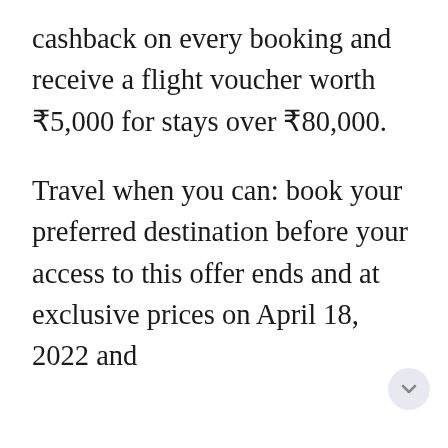cashback on every booking and receive a flight voucher worth ₹5,000 for stays over ₹80,000.
Travel when you can: book your preferred destination before your access to this offer ends and at exclusive prices on April 18, 2022 and